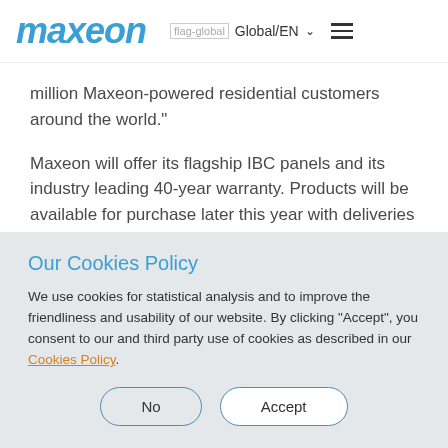maxeon | flag-global Global/EN
million Maxeon-powered residential customers around the world."
Maxeon will offer its flagship IBC panels and its industry leading 40-year warranty. Products will be available for purchase later this year with deliveries
Our Cookies Policy
We use cookies for statistical analysis and to improve the friendliness and usability of our website. By clicking "Accept", you consent to our and third party use of cookies as described in our Cookies Policy.
No | Accept